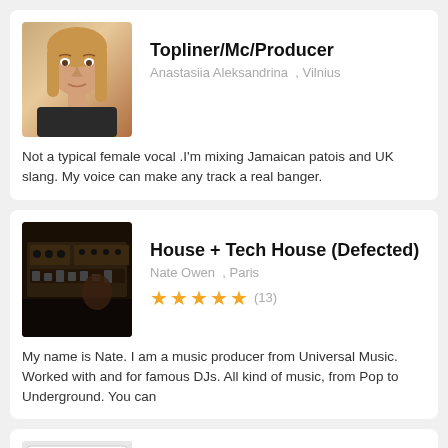[Figure (photo): Portrait photo of a young woman with long blonde/brown hair]
Topliner/Mc/Producer
Anastasiia Aleksandrina , Vilnius
Not a typical female vocal .I'm mixing Jamaican patois and UK slang. My voice can make any track a real banger.
[Figure (photo): Photo of DJ mixing equipment / music studio gear]
House + Tech House (Defected)
Nate Owen , Paris
★★★★★ (13)
My name is Nate. I am a music producer from Universal Music. Worked with and for famous DJs. All kind of music, from Pop to Underground. You can
[Figure (screenshot): Screenshot of yourghostproduction.com website on devices]
yourghostproduction.com
Your Ghost Production , Brussels
★★★★★ (1)